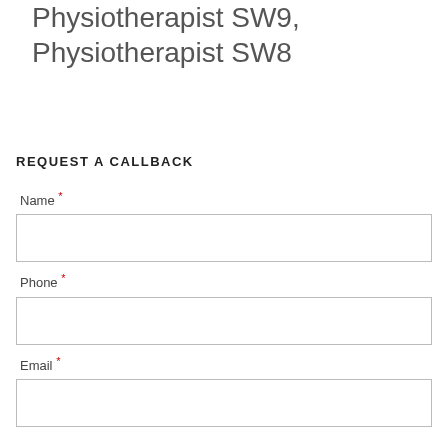Physiotherapist SW9, Physiotherapist SW8
REQUEST A CALLBACK
Name *
Phone *
Email *